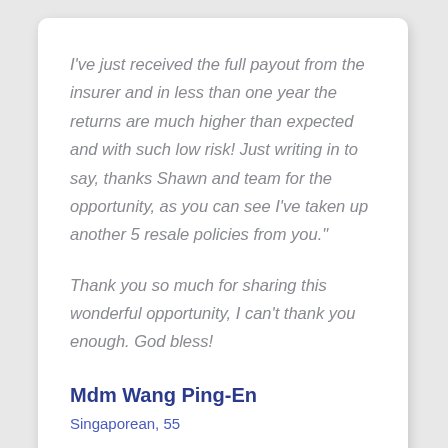I've just received the full payout from the insurer and in less than one year the returns are much higher than expected and with such low risk! Just writing in to say, thanks Shawn and team for the opportunity, as you can see I've taken up another 5 resale policies from you."
Thank you so much for sharing this wonderful opportunity, I can't thank you enough. God bless!
Mdm Wang Ping-En
Singaporean, 55